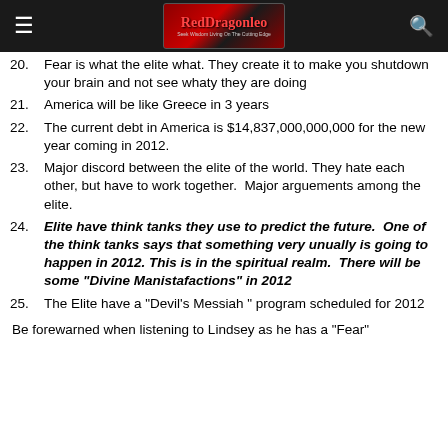RedDragonleo - Seek Wisdom Living On The Cutting Edge
20. Fear is what the elite what. They create it to make you shutdown your brain and not see whaty they are doing
21. America will be like Greece in 3 years
22. The current debt in America is $14,837,000,000,000 for the new year coming in 2012.
23. Major discord between the elite of the world. They hate each other, but have to work together.  Major arguements among the elite.
24. Elite have think tanks they use to predict the future.  One of the think tanks says that something very unually is going to happen in 2012. This is in the spiritual realm.  There will be some "Divine Manistafactions" in 2012
25. The Elite have a "Devil's Messiah " program scheduled for 2012
Be forewarned when listening to Lindsey as he has a "Fear"